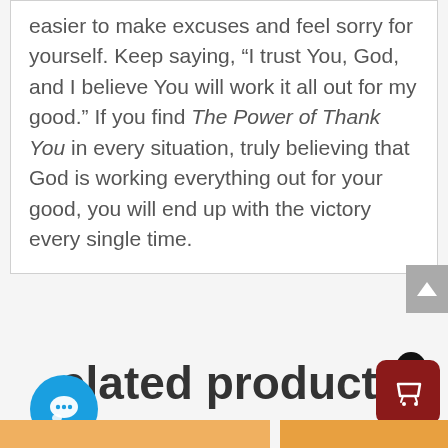easier to make excuses and feel sorry for yourself. Keep saying, “I trust You, God, and I believe You will work it all out for my good.” If you find The Power of Thank You in every situation, truly believing that God is working everything out for your good, you will end up with the victory every single time.
elated products